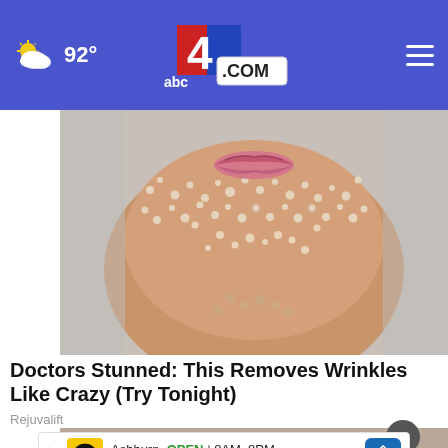92° | abc4.com
[Figure (photo): Close-up of lower face and neck covered in sugar crystals or salt scrub particles, beauty/skincare editorial photo]
Doctors Stunned: This Removes Wrinkles Like Crazy (Try Tonight)
Rejuvalift
[Figure (photo): Partial second article image, partially obscured by advertisement overlay]
Ashburn  OPEN  8AM–8PM  44110 Ashburn Shopping Plaza ...